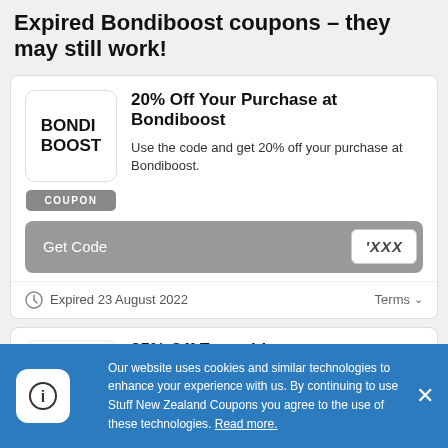Expired Bondiboost coupons – they may still work!
[Figure (other): Bondi Boost logo square with text BONDI BOOST and a COUPON badge below]
20% Off Your Purchase at Bondiboost
Use the code and get 20% off your purchase at Bondiboost.
Get Code  'XXX
Expired 23 August 2022   Terms
25% Off Everything at
Our website uses cookies and similar technologies to enhance your experience with us. By continuing to use Stuff New Zealand Coupons you agree to the use of these technologies. Read more.